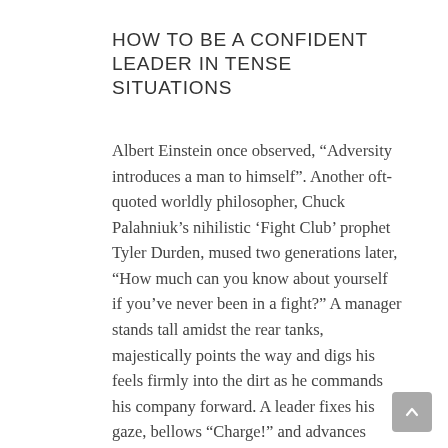HOW TO BE A CONFIDENT LEADER IN TENSE SITUATIONS
Albert Einstein once observed, “Adversity introduces a man to himself”. Another oft-quoted worldly philosopher, Chuck Palahniuk’s nihilistic ‘Fight Club’ prophet Tyler Durden, mused two generations later, “How much can you know about yourself if you’ve never been in a fight?” A manager stands tall amidst the rear tanks, majestically points the way and digs his feels firmly into the dirt as he commands his company forward. A leader fixes his gaze, bellows “Charge!” and advances shoulder-to-shoulder and stride-for-stride at the head of his brothers and